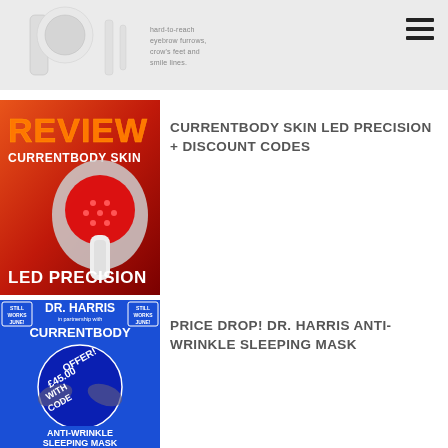[Figure (screenshot): Top banner showing a skincare product (white device) with text about hard-to-reach eyebrow furrows, crow's feet and smile lines. Hamburger menu icon in top right.]
[Figure (photo): Review card image: orange/red background with text 'REVIEW CURRENTBODY SKIN' at top in white/orange letters, a red LED device in center, text 'LED PRECISION' at bottom in white.]
CURRENTBODY SKIN LED PRECISION + DISCOUNT CODES
[Figure (photo): Price drop card: blue background, 'DR. HARRIS in partnership with CURRENTBODY' header with 'STILL WORKS JUNE!' badges, circular image with '£45.00 WITH CODE OFFER!' text overlay, 'ANTI-WRINKLE SLEEPING MASK' at bottom.]
PRICE DROP! DR. HARRIS ANTI-WRINKLE SLEEPING MASK